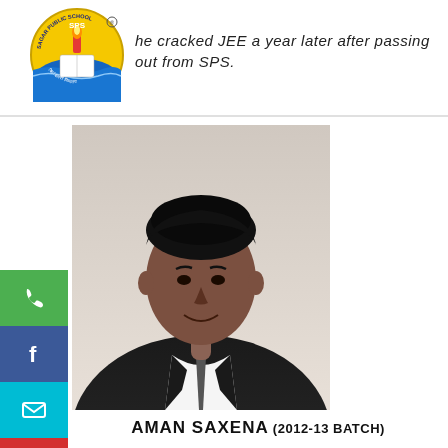[Figure (logo): Sagar Public School circular logo with SPS text, torch, book, and water wave design in yellow and blue]
he cracked JEE a year later after passing out from SPS.
[Figure (photo): Portrait photo of Aman Saxena, a young man in dark suit and tie, smiling, against white background]
AMAN SAXENA (2012-13 BATCH)